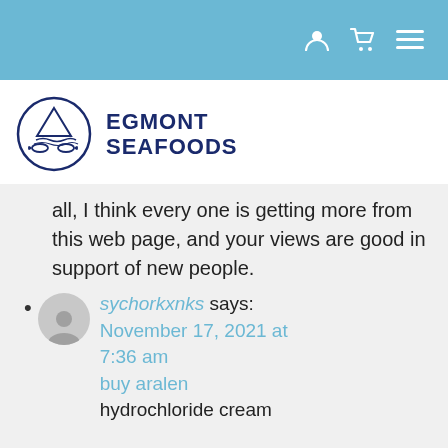Navigation bar with user, cart, and menu icons
[Figure (logo): Egmont Seafoods logo: circular badge with fish and waves, beside bold text EGMONT SEAFOODS]
all, I think every one is getting more from this web page, and your views are good in support of new people.
sychorkxnks says: November 17, 2021 at 7:36 am
buy aralen hydrochloride cream